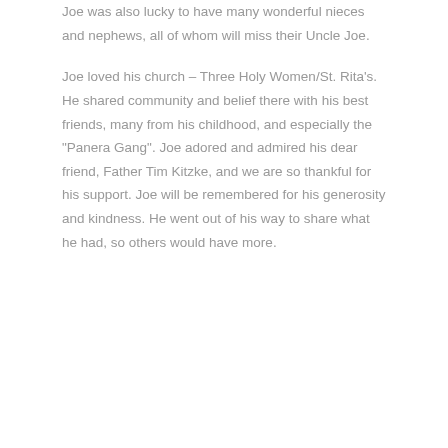Joe was also lucky to have many wonderful nieces and nephews, all of whom will miss their Uncle Joe.
Joe loved his church – Three Holy Women/St. Rita's. He shared community and belief there with his best friends, many from his childhood, and especially the "Panera Gang". Joe adored and admired his dear friend, Father Tim Kitzke, and we are so thankful for his support. Joe will be remembered for his generosity and kindness. He went out of his way to share what he had, so others would have more.